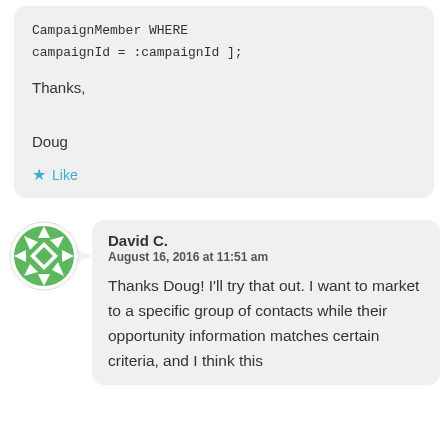CampaignMember WHERE campaignId = :campaignId ];

Thanks,

Doug
Like
[Figure (illustration): Green circular avatar icon with arrow/diamond pattern]
David C.
August 16, 2016 at 11:51 am
Thanks Doug! I'll try that out. I want to market to a specific group of contacts while their opportunity information matches certain criteria, and I think this